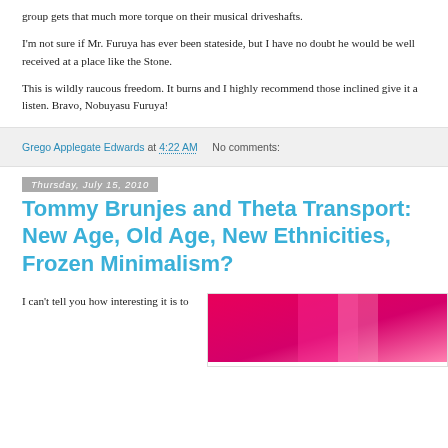group gets that much more torque on their musical driveshafts.
I'm not sure if Mr. Furuya has ever been stateside, but I have no doubt he would be well received at a place like the Stone.
This is wildly raucous freedom. It burns and I highly recommend those inclined give it a listen. Bravo, Nobuyasu Furuya!
Grego Applegate Edwards at 4:22 AM    No comments:
Thursday, July 15, 2010
Tommy Brunjes and Theta Transport: New Age, Old Age, New Ethnicities, Frozen Minimalism?
I can't tell you how interesting it is to
[Figure (photo): A cropped photo with vivid magenta/pink background, possibly an album cover or performance image.]